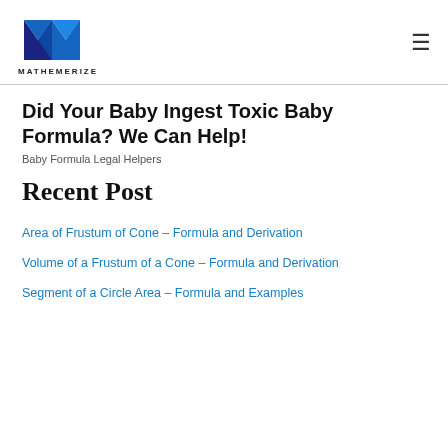MATHEMERIZE
Did Your Baby Ingest Toxic Baby Formula? We Can Help!
Baby Formula Legal Helpers
Recent Post
Area of Frustum of Cone – Formula and Derivation
Volume of a Frustum of a Cone – Formula and Derivation
Segment of a Circle Area – Formula and Examples